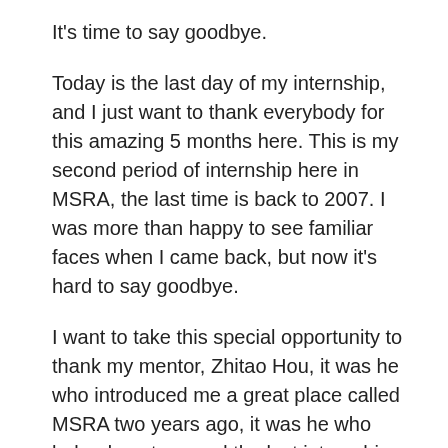It's time to say goodbye.
Today is the last day of my internship, and I just want to thank everybody for this amazing 5 months here. This is my second period of internship here in MSRA, the last time is back to 2007. I was more than happy to see familiar faces when I came back, but now it's hard to say goodbye.
I want to take this special opportunity to thank my mentor, Zhitao Hou, it was he who introduced me a great place called MSRA two years ago, it was he who helped me to spend the last internship before graduate. Zhitao always trust me in work and allow me to make mistakes. He is so patient and helping me on every aspect of my internship, always be there when I need help. Because of the job hunting, sometimes I have to go out for interviews. Zhitao provides lots of help. Once